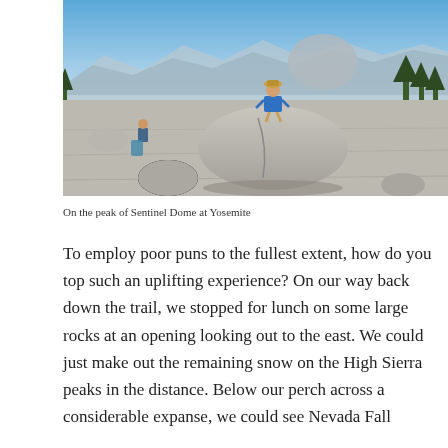[Figure (photo): A person standing on a large granite boulder on the peak of Sentinel Dome at Yosemite, with Half Dome and mountain ranges visible in the background under a clear blue sky.]
On the peak of Sentinel Dome at Yosemite
To employ poor puns to the fullest extent, how do you top such an uplifting experience? On our way back down the trail, we stopped for lunch on some large rocks at an opening looking out to the east. We could just make out the remaining snow on the High Sierra peaks in the distance. Below our perch across a considerable expanse, we could see Nevada Fall…